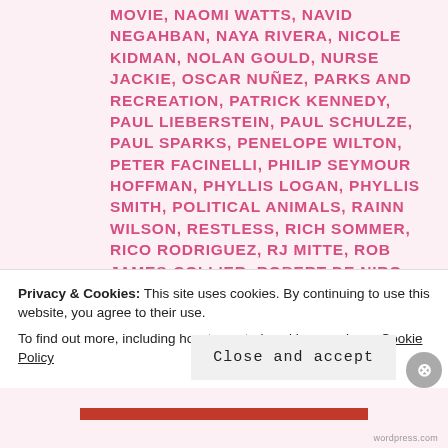MOVIE, NAOMI WATTS, NAVID NEGAHBAN, NAYA RIVERA, NICOLE KIDMAN, NOLAN GOULD, NURSE JACKIE, OSCAR NUÑEZ, PARKS AND RECREATION, PATRICK KENNEDY, PAUL LIEBERSTEIN, PAUL SCHULZE, PAUL SPARKS, PENELOPE WILTON, PETER FACINELLI, PHILIP SEYMOUR HOFFMAN, PHYLLIS LOGAN, PHYLLIS SMITH, POLITICAL ANIMALS, RAINN WILSON, RESTLESS, RICH SOMMER, RICO RODRIGUEZ, RJ MITTE, ROB JAMES-COLLIER, ROBERT DE NIRO, ROBERT MORSE, RONALD PICKUP, RORY COCHRANE, RUBY JERINS, RUPERT FRIEND, RUSSELL CROWE, RUST AND BONE, SACHA BARON COHEN, SALLY FIELD, SAMANTHA PARKS
Privacy & Cookies: This site uses cookies. By continuing to use this website, you agree to their use.
To find out more, including how to control cookies, see here: Cookie Policy
Close and accept